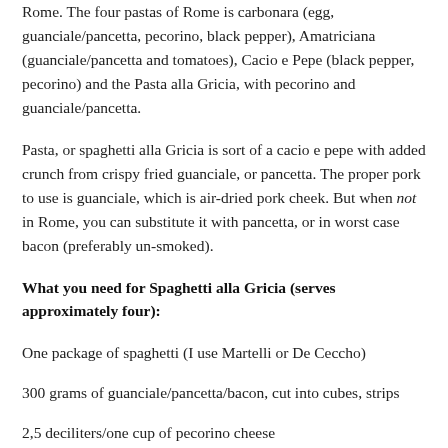Rome. The four pastas of Rome is carbonara (egg, guanciale/pancetta, pecorino, black pepper), Amatriciana (guanciale/pancetta and tomatoes), Cacio e Pepe (black pepper, pecorino) and the Pasta alla Gricia, with pecorino and guanciale/pancetta.
Pasta, or spaghetti alla Gricia is sort of a cacio e pepe with added crunch from crispy fried guanciale, or pancetta. The proper pork to use is guanciale, which is air-dried pork cheek. But when not in Rome, you can substitute it with pancetta, or in worst case bacon (preferably un-smoked).
What you need for Spaghetti alla Gricia (serves approximately four):
One package of spaghetti (I use Martelli or De Ceccho)
300 grams of guanciale/pancetta/bacon, cut into cubes, strips
2,5 deciliters/one cup of pecorino cheese
1/2 deciliter (1/4ish cup) of strained pasta cooking water